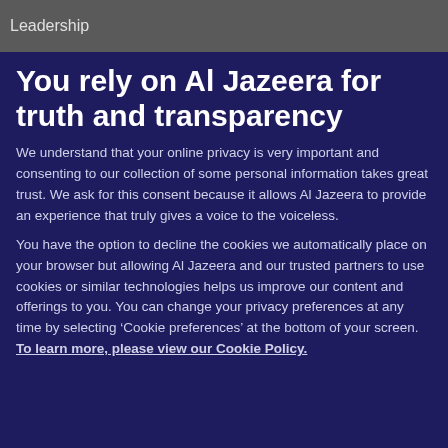Leadership
You rely on Al Jazeera for truth and transparency
We understand that your online privacy is very important and consenting to our collection of some personal information takes great trust. We ask for this consent because it allows Al Jazeera to provide an experience that truly gives a voice to the voiceless.
You have the option to decline the cookies we automatically place on your browser but allowing Al Jazeera and our trusted partners to use cookies or similar technologies helps us improve our content and offerings to you. You can change your privacy preferences at any time by selecting ‘Cookie preferences’ at the bottom of your screen. To learn more, please view our Cookie Policy.